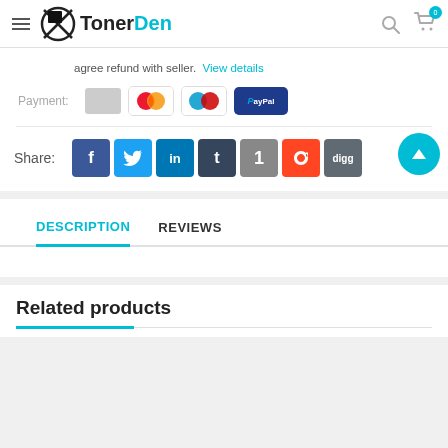TonerDen
agree refund with seller. View details
Payment:
[Figure (screenshot): Share buttons: Facebook, Twitter, LinkedIn, Tumblr, 1, StumbleUpon, Digg]
DESCRIPTION   REVIEWS
Related products